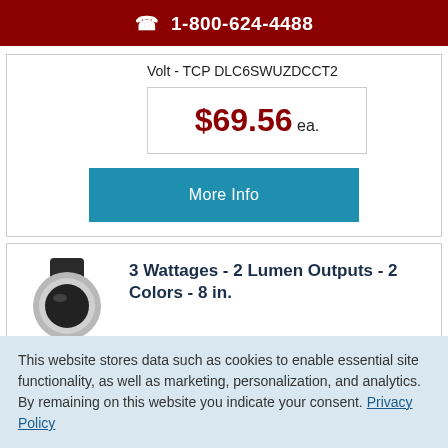1-800-624-4488
Volt - TCP DLC6SWUZDCCT2
$69.56 ea.
More Info
[Figure (photo): Recessed LED lighting fixture, circular, dark housing, viewed from below at an angle]
3 Wattages - 2 Lumen Outputs - 2 Colors - 8 in.
This website stores data such as cookies to enable essential site functionality, as well as marketing, personalization, and analytics. By remaining on this website you indicate your consent. Privacy Policy